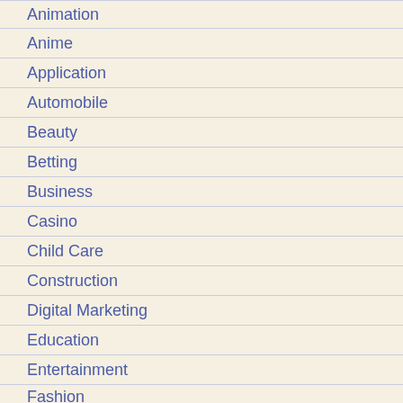Animation
Anime
Application
Automobile
Beauty
Betting
Business
Casino
Child Care
Construction
Digital Marketing
Education
Entertainment
Fashion